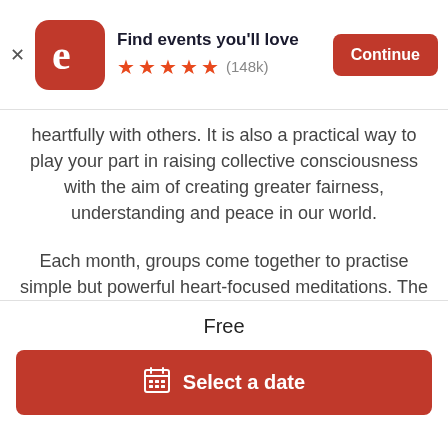[Figure (screenshot): Eventbrite app banner with logo, title 'Find events you'll love', 5 orange stars, (148k) reviews, and orange Continue button]
heartfully with others. It is also a practical way to play your part in raising collective consciousness with the aim of creating greater fairness, understanding and peace in our world.
Each month, groups come together to practise simple but powerful heart-focused meditations. The meditations include experiencing heart-felt feelings such as care, appreciation and compassion for self and others.
Free
Select a date